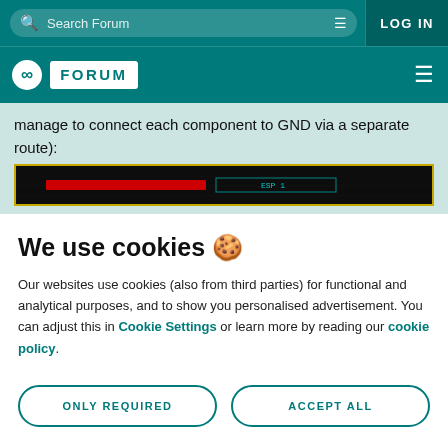Search Forum | LOG IN
FORUM
manage to connect each component to GND via a separate route):
[Figure (screenshot): Circuit board/PCB design screenshot showing ESP1 component with red and teal colored routing on dark background]
We use cookies 🍪
Our websites use cookies (also from third parties) for functional and analytical purposes, and to show you personalised advertisement. You can adjust this in Cookie Settings or learn more by reading our cookie policy.
ONLY REQUIRED
ACCEPT ALL